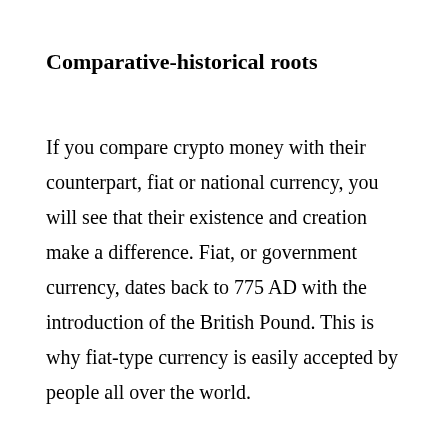Comparative-historical roots
If you compare crypto money with their counterpart, fiat or national currency, you will see that their existence and creation make a difference. Fiat, or government currency, dates back to 775 AD with the introduction of the British Pound. This is why fiat-type currency is easily accepted by people all over the world.